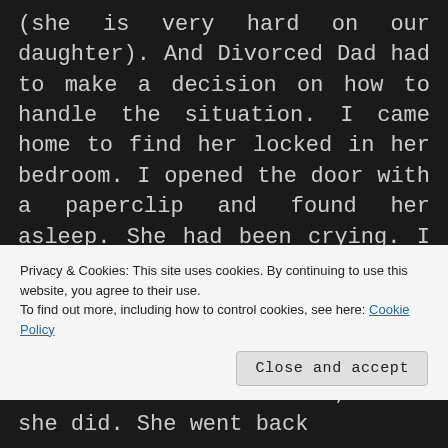(she is very hard on our daughter). And Divorced Dad had to make a decision on how to handle the situation. I came home to find her locked in her bedroom. I opened the door with a paperclip and found her asleep. She had been crying. I told her to never lock the door like that again and went downstairs to begin dinner. I was not ready to deal. 15 minutes later she tried to sneak into the kitchen to hand me her declaration of what should happen to her. (My daughter likes to write). I told her to take it back. She was not going to be part of deciding her consequences, and not
Privacy & Cookies: This site uses cookies. By continuing to use this website, you agree to their use.
To find out more, including how to control cookies, see here: Cookie Policy
Close and accept
her if she had homework, which she did. She went back